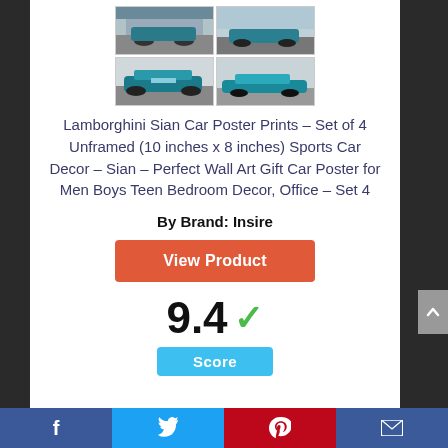[Figure (photo): Grid of 4 Lamborghini Sian car poster print images arranged in a 2x2 layout]
Lamborghini Sian Car Poster Prints – Set of 4 Unframed (10 inches x 8 inches) Sports Car Decor – Sian – Perfect Wall Art Gift Car Poster for Men Boys Teen Bedroom Decor, Office – Set 4
By Brand: Insire
View Product
9.4 ✓
Score